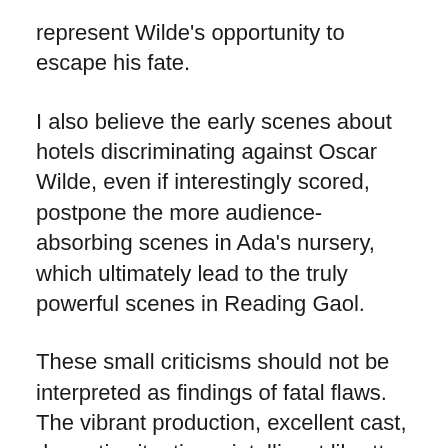represent Wilde’s opportunity to escape his fate.
I also believe the early scenes about hotels discriminating against Oscar Wilde, even if interestingly scored, postpone the more audience-absorbing scenes in Ada’s nursery, which ultimately lead to the truly powerful scenes in Reading Gaol.
These small criticisms should not be interpreted as findings of fatal flaws. The vibrant production, excellent cast, dramatic situations, intelligent libretto, and particularly Morrison’s expansive choral scenes in Reading Gaol, are worthy of an opera goer’s attentions.